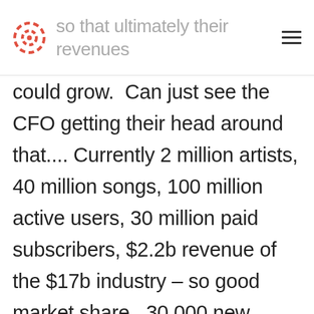to give away their product for free so that ultimately their revenues
could grow. Can just see the CFO getting their head around that.... Currently 2 million artists, 40 million songs, 100 million active users, 30 million paid subscribers, $2.2b revenue of the $17b industry – so good market share. 30,000 new tracks uploaded every day. the product is being built in to new car models and a whole eco-